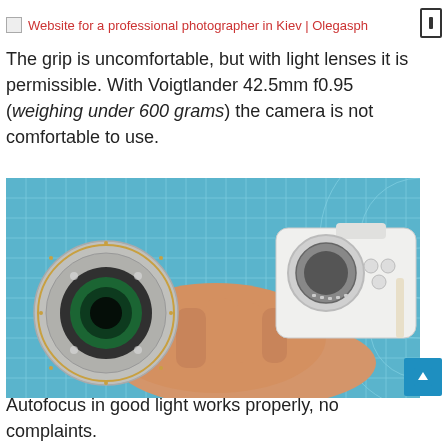Website for a professional photographer in Kiev | Olegasph
The grip is uncomfortable, but with light lenses it is permissible. With Voigtlander 42.5mm f0.95 (weighing under 600 grams) the camera is not comfortable to use.
[Figure (photo): A hand holding a white mirrorless camera body with its lens detached, placed on a blue grid cutting mat background.]
Autofocus in good light works properly, no complaints.